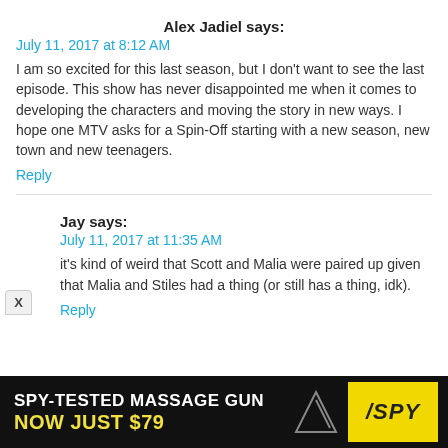Alex Jadiel says:
July 11, 2017 at 8:12 AM
I am so excited for this last season, but I don't want to see the last episode. This show has never disappointed me when it comes to developing the characters and moving the story in new ways. I hope one MTV asks for a Spin-Off starting with a new season, new town and new teenagers.
Reply
Jay says:
July 11, 2017 at 11:35 AM
it's kind of weird that Scott and Malia were paired up given that Malia and Stiles had a thing (or still has a thing, idk).
Reply
[Figure (screenshot): Advertisement banner for SPY-TESTED MASSAGE GUN, NOW JUST $79, with SPY logo on yellow background]